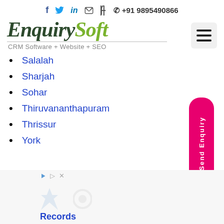f  twitter  in  mail  +91 9895490866
[Figure (logo): EnquirySoft logo with tagline CRM Software + Website + SEO]
CRM Software + Website + SEO
Salalah
Sharjah
Sohar
Thiruvananthapuram
Thrissur
York
[Figure (other): Advertisement area with play and close icons and watermark logos, Records text visible at bottom]